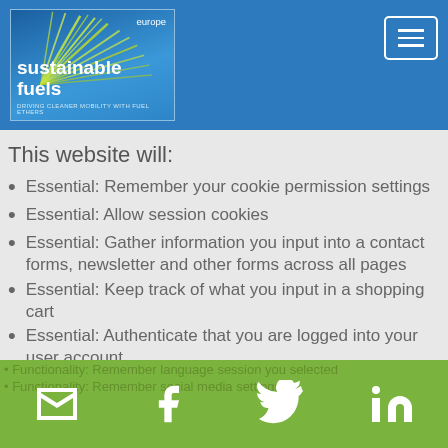Sustainable Fuels Europe — navigation header with logo and menu button
This website will:
Essential: Remember your cookie permission settings
Essential: Allow session cookies
Essential: Gather information you input into a contact forms, newsletter and other forms across all pages
Essential: Keep track of what you input in a shopping cart
Essential: Authenticate that you are logged into your user account
Social media icons: email, Facebook, Twitter, LinkedIn. Functionality: Remember language session you selected. Functionality: Remember social media settings.